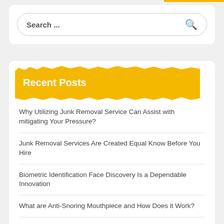[Figure (other): Search bar with rounded border, placeholder text 'Search ...' and a magnifying glass icon on the right]
Recent Posts
Why Utilizing Junk Removal Service Can Assist with mitigating Your Pressure?
Junk Removal Services Are Created Equal Know Before You Hire
Biometric Identification Face Discovery Is a Dependable Innovation
What are Anti-Snoring Mouthpiece and How Does it Work?
Magnesium the Fourth Most Plentiful Mineral in the Body